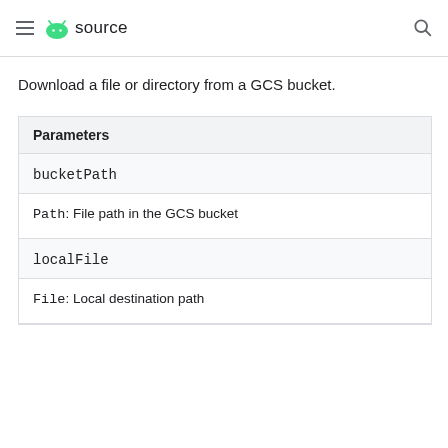source
Download a file or directory from a GCS bucket.
| Parameters |
| --- |
| bucketPath | Path: File path in the GCS bucket |
| localFile | File: Local destination path |